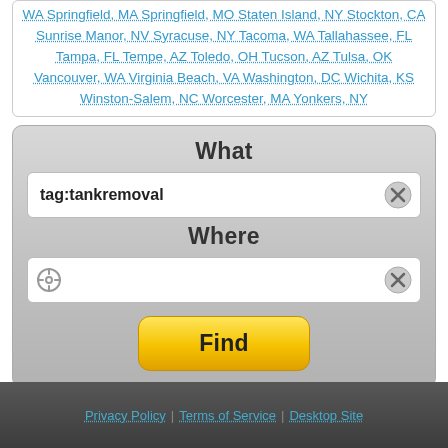WA Springfield, MA Springfield, MO Staten Island, NY Stockton, CA Sunrise Manor, NV Syracuse, NY Tacoma, WA Tallahassee, FL Tampa, FL Tempe, AZ Toledo, OH Tucson, AZ Tulsa, OK Vancouver, WA Virginia Beach, VA Washington, DC Wichita, KS Winston-Salem, NC Worcester, MA Yonkers, NY
What
tag:tankremoval
Where
[Figure (screenshot): Empty location search input field with location crosshair icon on left and clear (X) button on right]
Find
Privacy Policy | Terms of Service | Desktop Site